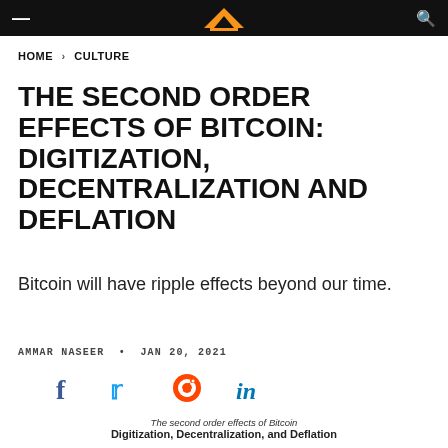HOME > CULTURE
THE SECOND ORDER EFFECTS OF BITCOIN: DIGITIZATION, DECENTRALIZATION AND DEFLATION
Bitcoin will have ripple effects beyond our time.
AMMAR NASEER • JAN 20, 2021
[Figure (other): Social share icons: Facebook, Twitter, Reddit, LinkedIn]
The second order effects of Bitcoin
Digitization, Decentralization, and Deflation